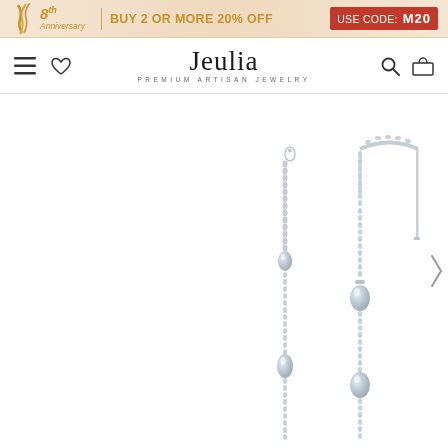8th Anniversary | BUY 2 OR MORE 20% OFF | USE CODE: M20
Jeulia — PREMIUM ARTISAN JEWELRY
[Figure (photo): Two silver threader earrings with teardrop pendants and delicate chain links on a white background. The left earring shows two drops hanging on chains, the right earring shows the full U-shaped threader with the same teardrop elements.]